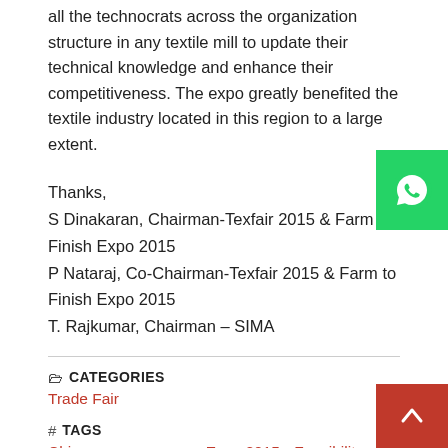all the technocrats across the organization structure in any textile mill to update their technical knowledge and enhance their competitiveness. The expo greatly benefited the textile industry located in this region to a large extent.
Thanks,
S Dinakaran, Chairman-Texfair 2015 & Farm to Finish Expo 2015
P Nataraj, Co-Chairman-Texfair 2015 & Farm to Finish Expo 2015
T. Rajkumar, Chairman – SIMA
CATEGORIES
Trade Fair
TAGS
China   compressors   Expo 2015   Feasibility   Germany
[Figure (other): WhatsApp contact button (green)]
[Figure (other): Phone contact button (red)]
[Figure (other): Scroll to top button (red with up arrow)]